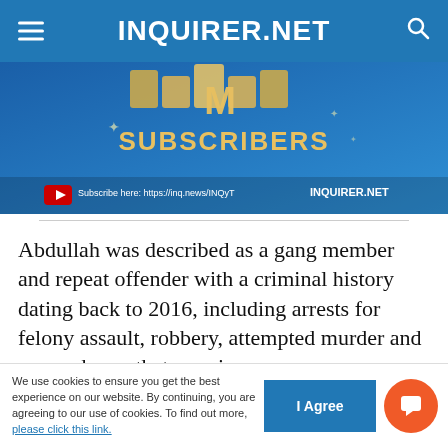INQUIRER.NET
[Figure (screenshot): YouTube subscribers milestone banner for INQUIRER.NET showing 1M SUBSCRIBERS with Subscribe here: https://inq.news/INQyT link]
Abdullah was described as a gang member and repeat offender with a criminal history dating back to 2016, including arrests for felony assault, robbery, attempted murder and a gun charge that remains open.
We use cookies to ensure you get the best experience on our website. By continuing, you are agreeing to our use of cookies. To find out more, please click this link.